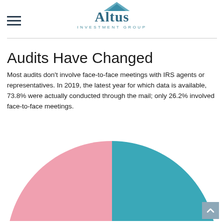Altus Investment Group
Audits Have Changed
Most audits don't involve face-to-face meetings with IRS agents or representatives. In 2019, the latest year for which data is available, 73.8% were actually conducted through the mail; only 26.2% involved face-to-face meetings.
[Figure (pie-chart): Audits by type 2019]